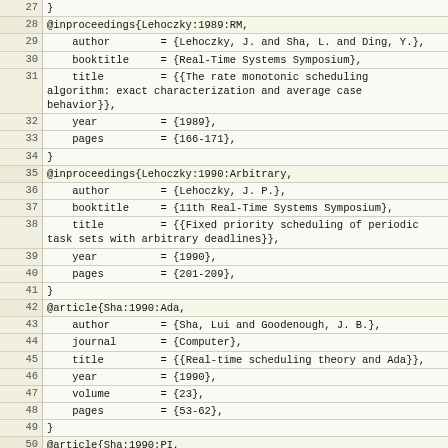BibTeX code listing lines 27-54 showing bibliographic entries for Lehoczky:1989:RM, Lehoczky:1990:Arbitrary, Sha:1990:Ada, and Sha:1990:PI